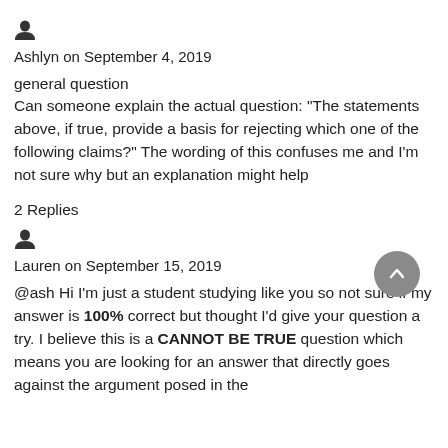[Figure (illustration): User avatar icon (silhouette of a person)]
Ashlyn on September 4, 2019
general question
Can someone explain the actual question: "The statements above, if true, provide a basis for rejecting which one of the following claims?" The wording of this confuses me and I'm not sure why but an explanation might help
2 Replies
[Figure (illustration): User avatar icon (silhouette of a person)]
Lauren on September 15, 2019
[Figure (illustration): Scroll-up button: gray circle with upward arrow]
@ash Hi I'm just a student studying like you so not sure if my answer is 100% correct but thought I'd give your question a try. I believe this is a CANNOT BE TRUE question which means you are looking for an answer that directly goes against the argument posed in the